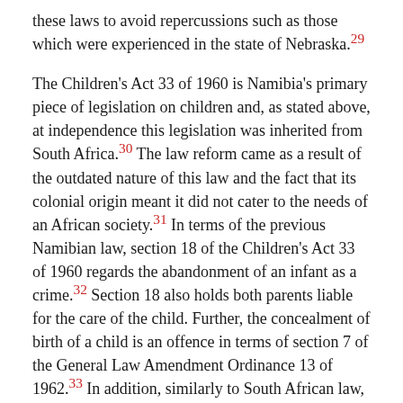these laws to avoid repercussions such as those which were experienced in the state of Nebraska.29
The Children's Act 33 of 1960 is Namibia's primary piece of legislation on children and, as stated above, at independence this legislation was inherited from South Africa.30 The law reform came as a result of the outdated nature of this law and the fact that its colonial origin meant it did not cater to the needs of an African society.31 In terms of the previous Namibian law, section 18 of the Children's Act 33 of 1960 regards the abandonment of an infant as a crime.32 Section 18 also holds both parents liable for the care of the child. Further, the concealment of birth of a child is an offence in terms of section 7 of the General Law Amendment Ordinance 13 of 1962.33 In addition, similarly to South African law, a parent who abandoned a child could be charged with murder, attempted murder or culpable homicide